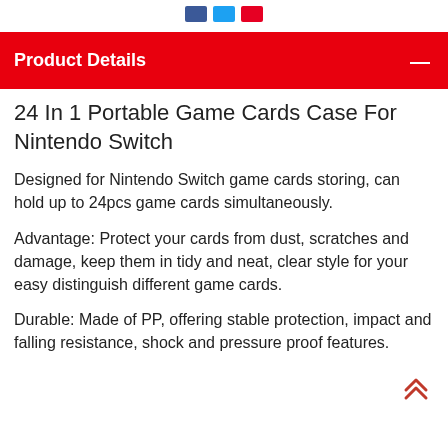[social icons: Facebook, Twitter, Pinterest]
Product Details
24 In 1 Portable Game Cards Case For Nintendo Switch
Designed for Nintendo Switch game cards storing, can hold up to 24pcs game cards simultaneously.
Advantage: Protect your cards from dust, scratches and damage, keep them in tidy and neat, clear style for your easy distinguish different game cards.
Durable: Made of PP, offering stable protection, impact and falling resistance, shock and pressure proof features.